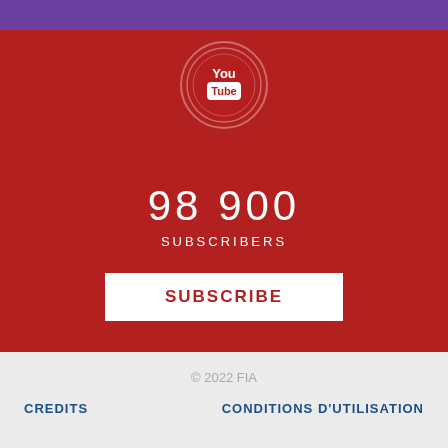[Figure (logo): YouTube logo icon inside concentric circles on a red background]
98 900
SUBSCRIBERS
SUBSCRIBE
© 2022 FIA
CREDITS
CONDITIONS D'UTILISATION